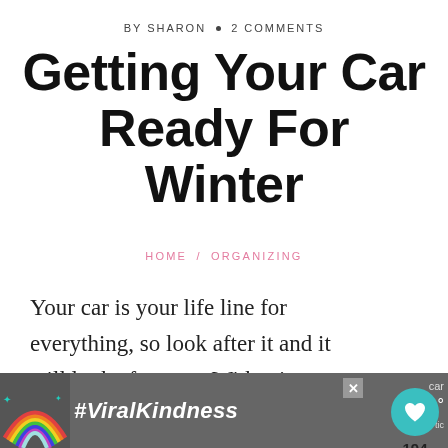BY SHARON • 2 COMMENTS
Getting Your Car Ready For Winter
HOME / ORGANIZING
Your car is your life line for everything, so look after it and it will look after you. With winter here and getting colder, you should get
[Figure (other): Advertisement banner with rainbow illustration and #ViralKindness text on dark background, with a close button]
[Figure (other): Social sidebar with heart (like) button showing 194 likes and a share button]